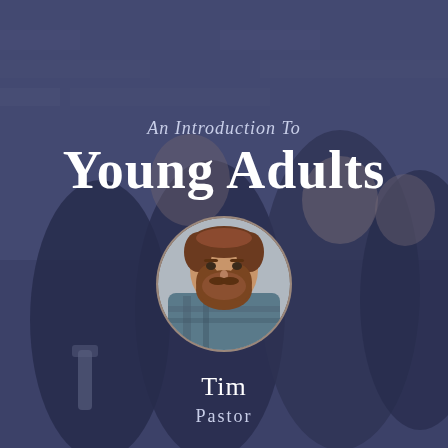[Figure (photo): Background photo of a group of young adults smiling and embracing, overlaid with a dark blue-purple tint. A circular portrait photo of a bearded man (Tim the Pastor) is centered in the lower half.]
An Introduction To
Young Adults
Tim
Pastor